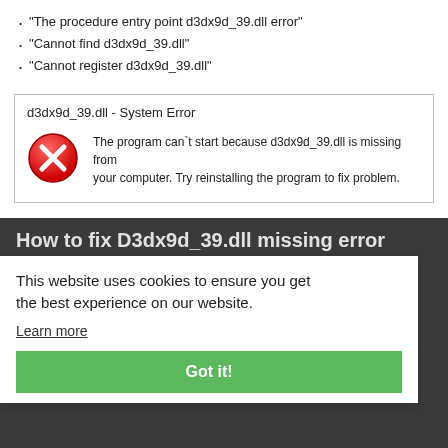“The procedure entry point d3dx9d_39.dll error”
“Cannot find d3dx9d_39.dll”
“Cannot register d3dx9d_39.dll”
[Figure (screenshot): System Error dialog box showing: 'd3dx9d_39.dll - System Error' title, red X icon, message 'The program can`t start because d3dx9d_39.dll is missing from your computer. Try reinstalling the program to fix problem.']
How to fix D3dx9d_39.dll missing error
If the d3dx9d_39.dll is missing error occurs, you may use one of the methods below - manual or automatic - to solve the issue. The manual method assumes that you download the d3dx9d_39.dll file and put it inside the game/application installation folder, while the second method is much easier as it allows you to automatically fix the error with minimum effort.
This website uses cookies to ensure you get the best experience on our website.
Learn more
Got it!